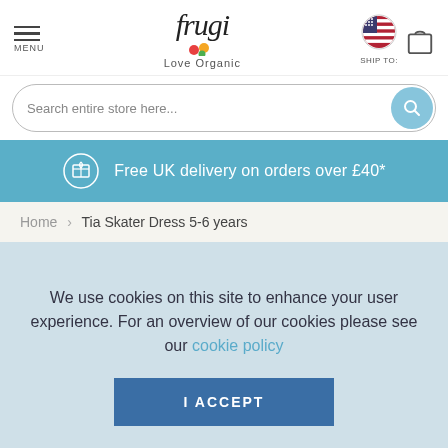[Figure (screenshot): Frugi website header with logo, menu icon, ship-to flag, and bag icon]
Search entire store here...
Free UK delivery on orders over £40*
Home > Tia Skater Dress 5-6 years
We use cookies on this site to enhance your user experience. For an overview of our cookies please see our cookie policy
I ACCEPT
CUSTOM SETTINGS